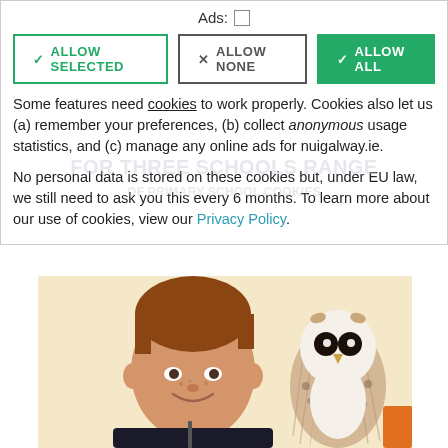Ads: □
✓ ALLOW SELECTED   ✗ ALLOW NONE   ✓ ALLOW ALL
Some features need cookies to work properly. Cookies also let us (a) remember your preferences, (b) collect anonymous usage statistics, and (c) manage any online ads for nuigalway.ie.
No personal data is stored on these cookies but, under EU law, we still need to ask you this every 6 months. To learn more about our use of cookies, view our Privacy Policy.
[Figure (photo): A smiling boy looking at a barn owl perched nearby, against a warm beige background]